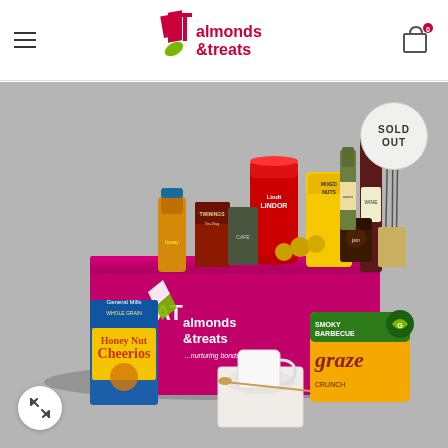[Figure (logo): Almonds & Treats logo with stylized AT monogram in pink/crimson and green, text 'almonds &treats' in dark pink]
[Figure (photo): A pink gift hamper box branded 'almonds &treats ...nurturing bonds' containing various products: Lindt Lindor chocolates, Twinings tea, Ferrero Rocher, wine bottle, Mixed Nuts bag, Nurbain jam, diffuser sticks, coffee, honey bottle. In front: Honey Nut Cheerios box, white mug with spoon on coaster, Graze Smoky Barbecue Crunch snack bag. A 'SOLD OUT' circular badge overlaid top-right.]